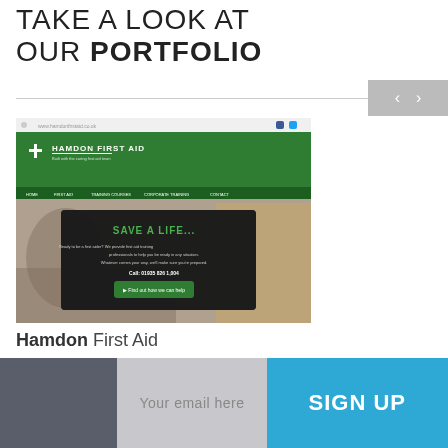TAKE A LOOK AT OUR PORTFOLIO
[Figure (screenshot): Screenshot of Hamdon First Aid website with green header, navigation bar, and a dark overlay panel saying 'SAVE A LIFE' with a call-to-action button.]
Hamdon First Aid
Your email here
SIGN UP